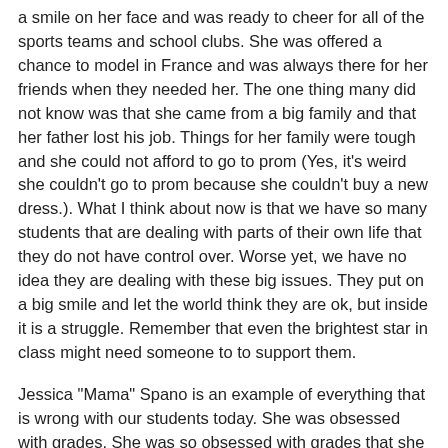a smile on her face and was ready to cheer for all of the sports teams and school clubs. She was offered a chance to model in France and was always there for her friends when they needed her. The one thing many did not know was that she came from a big family and that her father lost his job. Things for her family were tough and she could not afford to go to prom (Yes, it's weird she couldn't go to prom because she couldn't buy a new dress.). What I think about now is that we have so many students that are dealing with parts of their own life that they do not have control over. Worse yet, we have no idea they are dealing with these big issues. They put on a big smile and let the world think they are ok, but inside it is a struggle. Remember that even the brightest star in class might need someone to to support them.
Jessica "Mama" Spano is an example of everything that is wrong with our students today. She was obsessed with grades. She was so obsessed with grades that she became "addicted" to caffeine pills! (Lamest addiction ever) She was stressed out over her SAT scores and was afraid she might not get into Stansbury (The Harvard of the West). Her whole life was predicated on what she received on tests. She was by no means the smartest kid in the school. Screetch had her beat and on Valedictorian of Bayside for that graduating class, but I'll write about that later. Jessie was the student